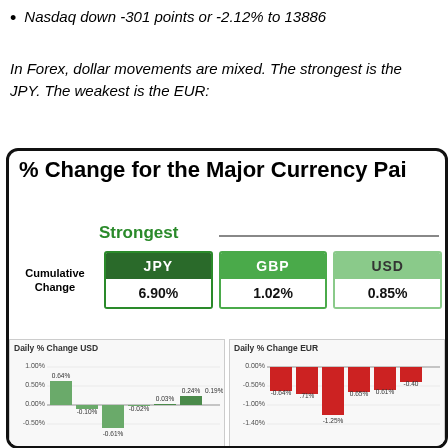Nasdaq down -301 points or -2.12% to 13886
In Forex, dollar movements are mixed. The strongest is the JPY. The weakest is the EUR:
[Figure (infographic): Infographic showing % change for major currency pairs. Strongest: JPY 6.90%, GBP 1.02%, USD 0.85%. Includes two mini bar charts: Daily % Change USD and Daily % Change EUR.]
[Figure (bar-chart): Daily % Change USD]
[Figure (bar-chart): Daily % Change EUR]